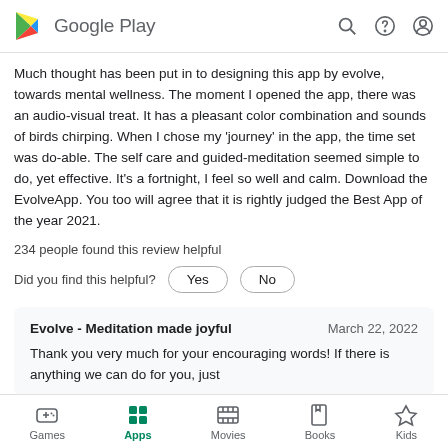Google Play
Much thought has been put in to designing this app by evolve, towards mental wellness. The moment I opened the app, there was an audio-visual treat. It has a pleasant color combination and sounds of birds chirping. When I chose my 'journey' in the app, the time set was do-able. The self care and guided-meditation seemed simple to do, yet effective. It's a fortnight, I feel so well and calm. Download the EvolveApp. You too will agree that it is rightly judged the Best App of the year 2021.
234 people found this review helpful
Did you find this helpful?
Evolve - Meditation made joyful    March 22, 2022
Thank you very much for your encouraging words! If there is anything we can do for you, just
Games  Apps  Movies  Books  Kids